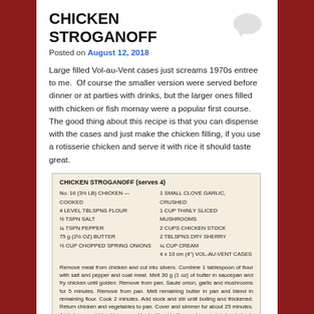CHICKEN STROGANOFF
Posted on August 12, 2018
Large filled Vol-au-Vent cases just screams 1970s entree to me.  Of course the smaller version were served before dinner or at parties with drinks, but the larger ones filled with chicken or fish mornay were a popular first course. The good thing about this recipe is that you can dispense with the cases and just make the chicken filling, if you use a rotisserie chicken and serve it with rice it should taste great.
[Figure (other): Scanned recipe card for CHICKEN STROGANOFF (serves 4) listing ingredients and instructions]